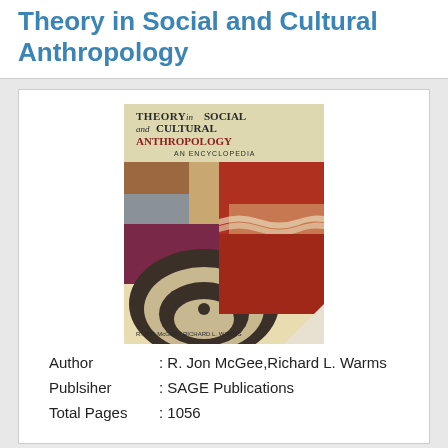Theory in Social and Cultural Anthropology
[Figure (photo): Book cover of 'Theory in Social and Cultural Anthropology: An Encyclopedia' by R. Jon McGee and Richard L. Warms. The cover shows abstract art with red, brown, and cream geometric shapes and curved forms. Text on cover reads: THEORY in SOCIAL and CULTURAL ANTHROPOLOGY AN ENCYCLOPEDIA, R. JON McGEE · RICHARD L. WARMS]
Author        : R. Jon McGee,Richard L. Warms
Publsiher     : SAGE Publications
Total Pages : 1056